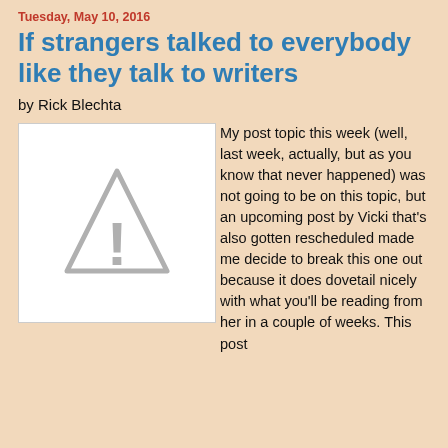Tuesday, May 10, 2016
If strangers talked to everybody like they talk to writers
by Rick Blechta
[Figure (illustration): White rectangle with a grey warning/caution triangle icon (exclamation mark) — broken image placeholder]
My post topic this week (well, last week, actually, but as you know that never happened) was not going to be on this topic, but an upcoming post by Vicki that's also gotten rescheduled made me decide to break this one out because it does dovetail nicely with what you'll be reading from her in a couple of weeks. This post